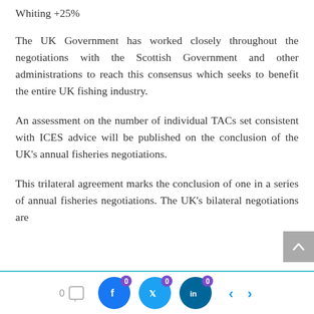Whiting +25%
The UK Government has worked closely throughout the negotiations with the Scottish Government and other administrations to reach this consensus which seeks to benefit the entire UK fishing industry.
An assessment on the number of individual TACs set consistent with ICES advice will be published on the conclusion of the UK's annual fisheries negotiations.
This trilateral agreement marks the conclusion of one in a series of annual fisheries negotiations. The UK's bilateral negotiations are
0  [comment] [f 0] [twitter 0] [in 0] < >